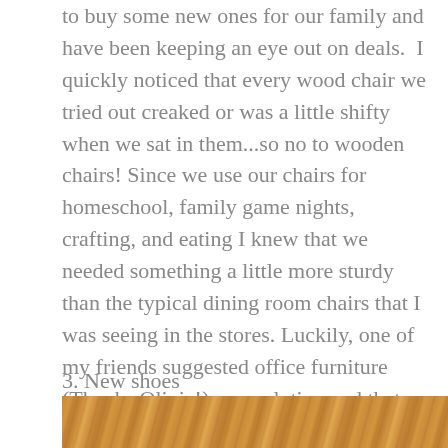to buy some new ones for our family and have been keeping an eye out on deals.  I quickly noticed that every wood chair we tried out creaked or was a little shifty when we sat in them...so no to wooden chairs! Since we use our chairs for homeschool, family game nights, crafting, and eating I knew that we needed something a little more sturdy than the typical dining room chairs that I was seeing in the stores. Luckily, one of my friends suggested office furniture (Thanks Olivia!) as a solution and that was a great idea. I headed over to a local used furniture store and found an almost matching set of four office chairs for just $35 each. *To cap it off, they did not have stains and do not wiggle when we sit or slide them back
3. New shoes
[Figure (photo): Wood grain texture / wooden floor or surface photo]